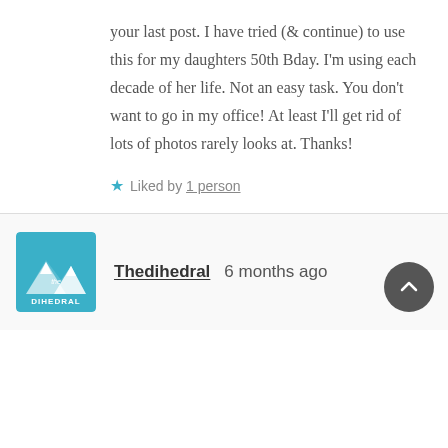your last post. I have tried (& continue) to use this for my daughters 50th Bday. I'm using each decade of her life. Not an easy task. You don't want to go in my office! At least I'll get rid of lots of photos rarely looks at. Thanks!
★ Liked by 1 person
[Figure (logo): Thedihedral logo: mountain/peak icon with 'The DIHEDRAL' text on teal background]
Thedihedral   6 months ago